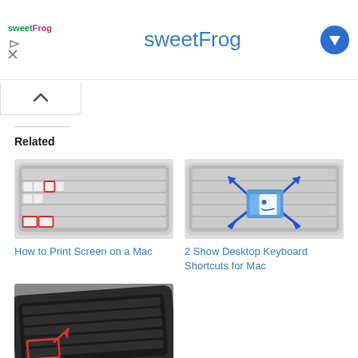[Figure (screenshot): sweetFrog advertisement banner with logo and title text 'sweetFrog' in blue, play and close icons on left, download icon top right]
[Figure (screenshot): Collapse/up-chevron button below the ad banner]
Related
[Figure (photo): Apple Magic Keyboard with certain keys highlighted in red rectangles, illustrating Print Screen shortcut on Mac]
How to Print Screen on a Mac
[Figure (photo): Apple Magic Keyboard with Mac Finder icon overlaid and blue arrows pointing outward, illustrating Show Desktop keyboard shortcuts for Mac]
2 Show Desktop Keyboard Shortcuts for Mac
[Figure (photo): Dark keyboard with a key highlighted in a red rectangle with red arrows, partially visible at bottom of page]